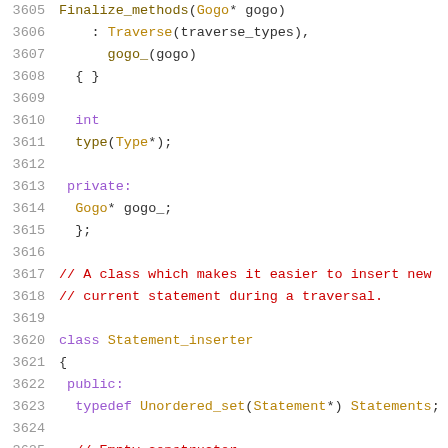[Figure (screenshot): Source code listing showing C++ class definitions with line numbers 3605-3626, syntax highlighted in monospace font on white background.]